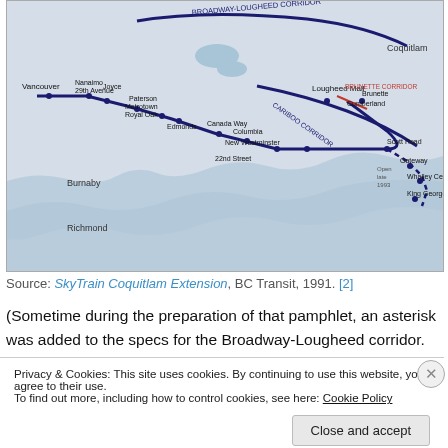[Figure (map): Transit map showing SkyTrain corridors in Greater Vancouver area including Broadway-Lougheed Corridor, Cariboo Corridor, Brunette Corridor, with stations labeled: Vancouver, Nanaimo 29th Avenue, Joyce, Paterson, Metrotown, Royal Oak, Edmonds, 22nd Street, Burnaby, Jouce, Canada Way, Columbia, New Westminster, Lougheed Mall, Brunette, Cumberland, Scott Road, Gateway, Whalley Centre, King George, Coquitlam, Richmond]
Source: SkyTrain Coquitlam Extension, BC Transit, 1991. [2]
(Sometime during the preparation of that pamphlet, an asterisk was added to the specs for the Broadway-Lougheed corridor. The Advisory Committee, it was explained, had rejected the route due to its much higher
Privacy & Cookies: This site uses cookies. By continuing to use this website, you agree to their use.
To find out more, including how to control cookies, see here: Cookie Policy